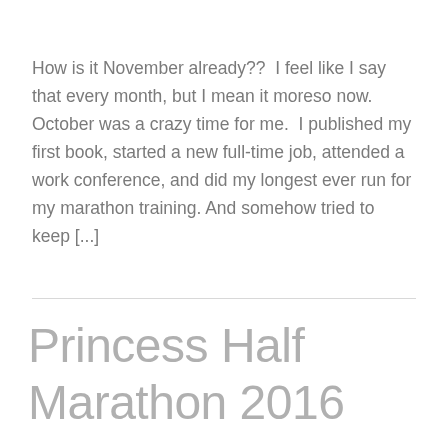How is it November already??  I feel like I say that every month, but I mean it moreso now.  October was a crazy time for me.  I published my first book, started a new full-time job, attended a work conference, and did my longest ever run for my marathon training. And somehow tried to keep [...]
Princess Half Marathon 2016 recap